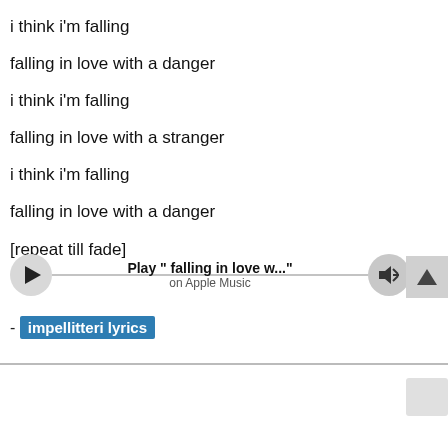i think i'm falling
falling in love with a danger
i think i'm falling
falling in love with a stranger
i think i'm falling
falling in love with a danger
[repeat till fade]
[Figure (screenshot): Apple Music player widget with play button, speaker/volume button, title 'Play " falling in love w..."' and subtitle 'on Apple Music']
- impellitteri lyrics